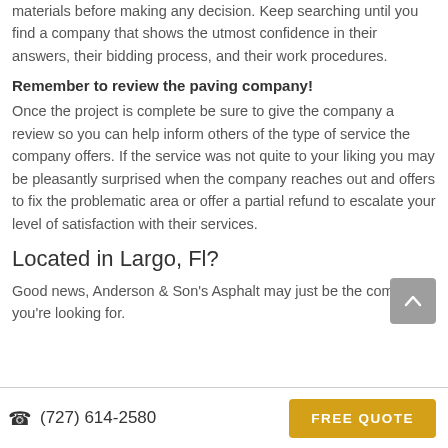materials before making any decision. Keep searching until you find a company that shows the utmost confidence in their answers, their bidding process, and their work procedures.
Remember to review the paving company!
Once the project is complete be sure to give the company a review so you can help inform others of the type of service the company offers. If the service was not quite to your liking you may be pleasantly surprised when the company reaches out and offers to fix the problematic area or offer a partial refund to escalate your level of satisfaction with their services.
Located in Largo, Fl?
Good news, Anderson & Son's Asphalt may just be the company you're looking for.
(727) 614-2580  FREE QUOTE